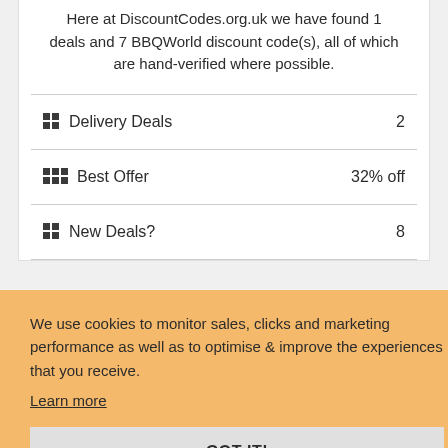Here at DiscountCodes.org.uk we have found 1 deals and 7 BBQWorld discount code(s), all of which are hand-verified where possible.
| Category | Value |
| --- | --- |
| Delivery Deals | 2 |
| Best Offer | 32% off |
| New Deals? | 8 |
We use cookies to monitor sales, clicks and marketing performance as well as to optimise & improve the experiences that you receive.
Learn more
GOT IT!